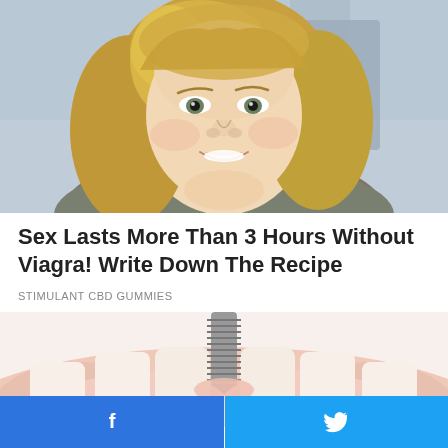[Figure (photo): Portrait of a smiling middle-aged blonde woman, close-up face and shoulders, indoor background]
Sex Lasts More Than 3 Hours Without Viagra! Write Down The Recipe
STIMULANT CBD GUMMIES
[Figure (illustration): Medical illustration of a dental implant screw inserted into gum/jaw tissue]
Facebook share | Twitter share